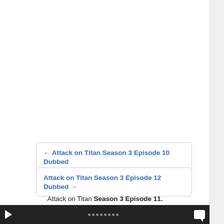← Attack on Titan Season 3 Episode 10 Dubbed
Attack on Titan Season 3 Episode 12 Dubbed →
Attack on Titan Season 3 Episode 11. Watch Attack on Titan Season 3 Episode 11 in High Quality HD online on http://ww4.watchsnk.net.